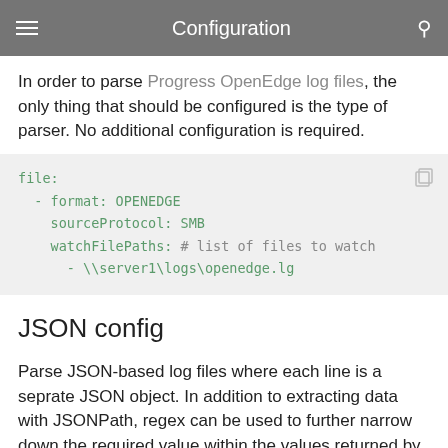Configuration
In order to parse Progress OpenEdge log files, the only thing that should be configured is the type of parser. No additional configuration is required.
file:
  - format: OPENEDGE
    sourceProtocol: SMB
    watchFilePaths: # list of files to watch
      - \\server1\logs\openedge.lg
JSON config
Parse JSON-based log files where each line is a seprate JSON object. In addition to extracting data with JSONPath, regex can be used to further narrow down the required value within the values returned by the JSONPath.